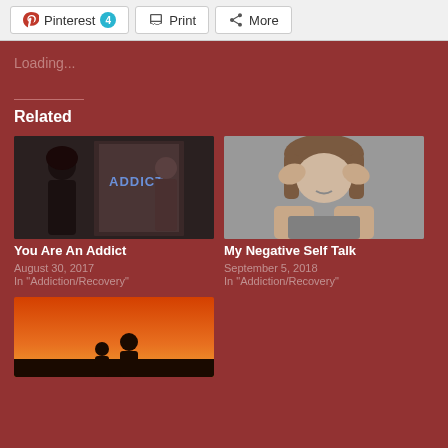Pinterest 4  Print  More
Loading...
Related
[Figure (photo): Person looking at mirror with word ADDICT written on it]
You Are An Addict
August 30, 2017
In "Addiction/Recovery"
[Figure (photo): Black and white photo of woman with head in hands, distressed]
My Negative Self Talk
September 5, 2018
In "Addiction/Recovery"
[Figure (photo): Silhouettes of two people against a sunset/orange sky]